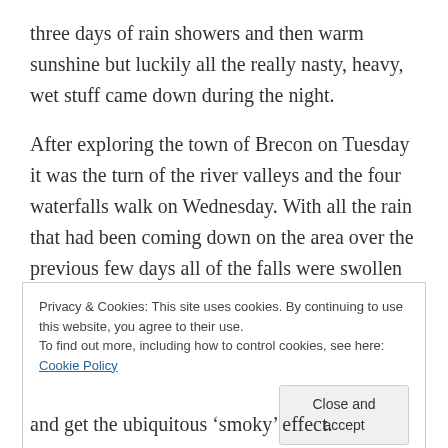three days of rain showers and then warm sunshine but luckily all the really nasty, heavy, wet stuff came down during the night.
After exploring the town of Brecon on Tuesday it was the turn of the river valleys and the four waterfalls walk on Wednesday. With all the rain that had been coming down on the area over the previous few days all of the falls were swollen and very spectacular.
Privacy & Cookies: This site uses cookies. By continuing to use this website, you agree to their use.
To find out more, including how to control cookies, see here: Cookie Policy
Close and accept
and get the ubiquitous ‘smoky’ effect.